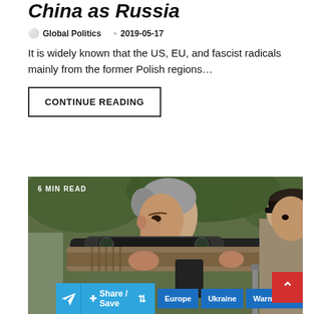China as Russia
Global Politics   2019-05-17
It is widely known that the US, EU, and fascist radicals mainly from the former Polish regions…
CONTINUE READING
[Figure (photo): A man aiming a large sniper rifle with a scope, with another person visible in the background. Text overlay reads '6 MIN READ'.]
Share / Save   Europe   Ukraine   Warmonger